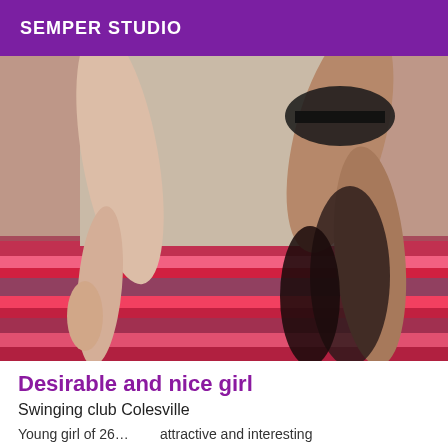SEMPER STUDIO
[Figure (photo): Close-up photo of two women in lingerie on a colorful patterned bed]
Desirable and nice girl
Swinging club Colesville
Young girl of 26...